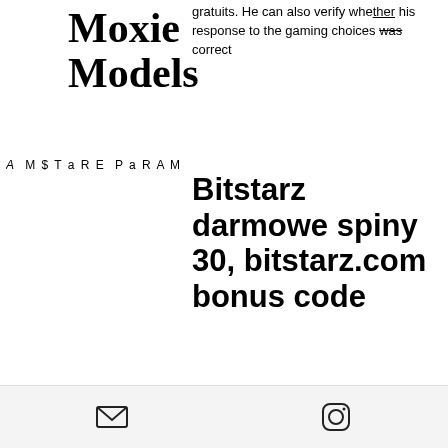Moxie Models
gratuits. He can also verify whether his response to the gaming choices was correct
A M $ T a R E P a D A M
Bitstarz darmowe spiny 30, bitstarz.com bonus code
Among the biggest draws for US sports bettors are the huge enhanced cryptocurrency bonuses that most sites offer to members who choose to deposit with alternative payment methods like Ethereum. While a standard legal online sportsbook bonus will give players a 50% or 100% deposit match worth around $250 to $1000 in free plays, ETH betting deposits can provide 2-3 times that much extra money for your bankroll, bitstarz зеркало на сегодня.
email icon | instagram icon